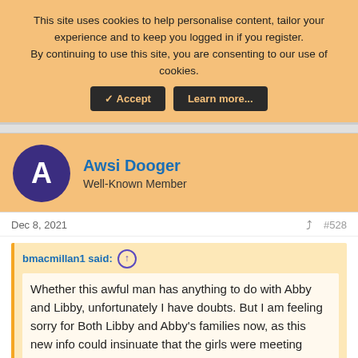This site uses cookies to help personalise content, tailor your experience and to keep you logged in if you register.
By continuing to use this site, you are consenting to our use of cookies.
✓ Accept | Learn more...
Awsi Dooger
Well-Known Member
Dec 8, 2021
#528
bmacmillan1 said:
Whether this awful man has anything to do with Abby and Libby, unfortunately I have doubts. But I am feeling sorry for Both Libby and Abby's families now, as this new info could insinuate that the girls were meeting boys online which might be construed in a negative light, but which might not be true at all.